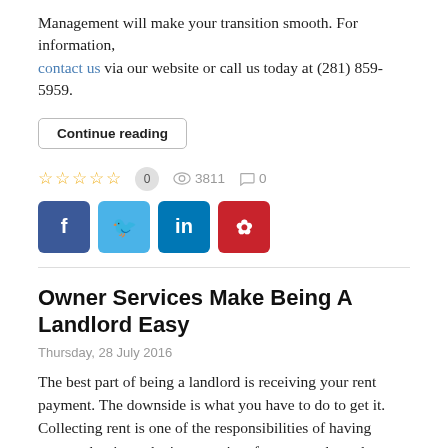Management will make your transition smooth. For information, contact us via our website or call us today at (281) 859-5959.
Continue reading
☆☆☆☆☆  0    3811    0
[Figure (other): Social share buttons: Facebook, Twitter, LinkedIn, Pinterest]
Owner Services Make Being A Landlord Easy
Thursday, 28 July 2016
The best part of being a landlord is receiving your rent payment. The downside is what you have to do to get it. Collecting rent is one of the responsibilities of having tenants, but it can be inconvenient for you to chase down the payment they owe you.